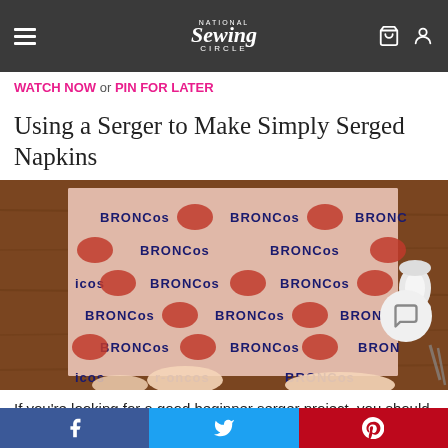National Sewing Circle
WATCH NOW or PIN FOR LATER
Using a Serger to Make Simply Serged Napkins
[Figure (photo): Broncos-patterned fabric spread on a wooden table with hands smoothing it, scissors and a spool visible at right]
If you're looking for a good beginner serger project, you should